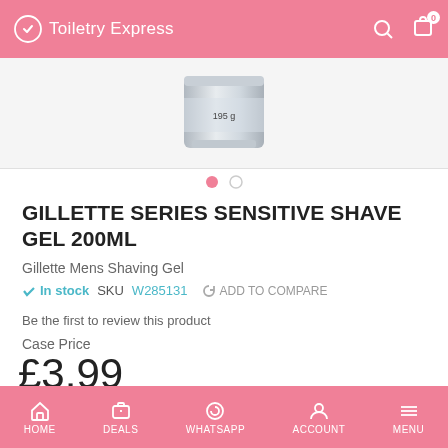Toiletry Express
[Figure (photo): Product image of Gillette Series Sensitive Shave Gel 200ml can, partially cropped, showing silver metallic can with 195g label]
GILLETTE SERIES SENSITIVE SHAVE GEL 200ML
Gillette Mens Shaving Gel
In stock   SKU W285131   ADD TO COMPARE
Be the first to review this product
Case Price
£3.99
Unit Price: £3.99
Case Qty: 1
HOME   DEALS   WHATSAPP   ACCOUNT   MENU